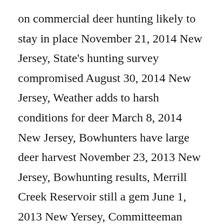on commercial deer hunting likely to stay in place November 21, 2014 New Jersey, State's hunting survey compromised August 30, 2014 New Jersey, Weather adds to harsh conditions for deer March 8, 2014 New Jersey, Bowhunters have large deer harvest November 23, 2013 New Jersey, Bowhunting results, Merrill Creek Reservoir still a gem June 1, 2013 New Yersey, Committeeman wants to allow 'deer driving' and extra days for hunters February 14, 2013 New Jersey,